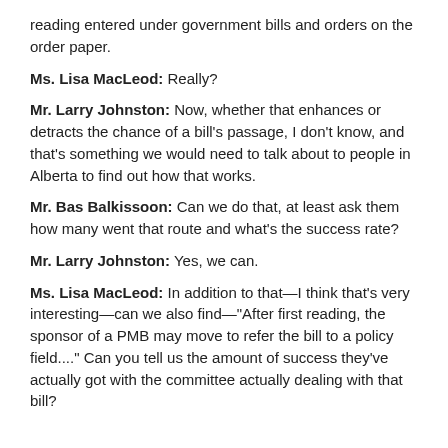reading entered under government bills and orders on the order paper.
Ms. Lisa MacLeod: Really?
Mr. Larry Johnston: Now, whether that enhances or detracts the chance of a bill's passage, I don't know, and that's something we would need to talk about to people in Alberta to find out how that works.
Mr. Bas Balkissoon: Can we do that, at least ask them how many went that route and what's the success rate?
Mr. Larry Johnston: Yes, we can.
Ms. Lisa MacLeod: In addition to that—I think that's very interesting—can we also find—"After first reading, the sponsor of a PMB may move to refer the bill to a policy field...." Can you tell us the amount of success they've actually got with the committee actually dealing with that bill?